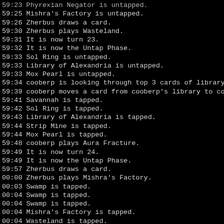59:23 Phyrexian Negator is untapped.
59:25 Mishra's Factory is untapped.
59:26 Zherbus draws a card.
59:30 Zherbus plays Wasteland.
59:31 It is now turn 23.
59:32 It is now the Untap Phase.
59:33 Sol Ring is untapped.
59:33 Library of Alexandria is untapped.
59:33 Mox Pearl is untapped.
59:34 cooberp is looking through top 3 cards of library...
59:39 cooberp moves a card from cooberp's library to cooberp's hand.
59:41 Savannah is tapped.
59:42 Sol Ring is tapped.
59:43 Library of Alexandria is tapped.
59:44 Strip Mine is tapped.
59:44 Mox Pearl is tapped.
59:48 cooberp plays Aura Fracture.
59:49 It is now turn 24.
59:49 It is now the Untap Phase.
59:57 Zherbus draws a card.
00:00 Zherbus plays Mishra's Factory.
00:03 Swamp is tapped.
00:04 Swamp is tapped.
00:04 Swamp is tapped.
00:04 Mishra's Factory is tapped.
00:04 Wasteland is tapped.
00:04 Mishra's Factory is tapped.
00:06 Zherbus plays Necropotence.
00:13 cooberp says:'hoo boy'
00:13 Zherbus says:'pay 7'
00:16 Zherbus's life is now 10. (-1)